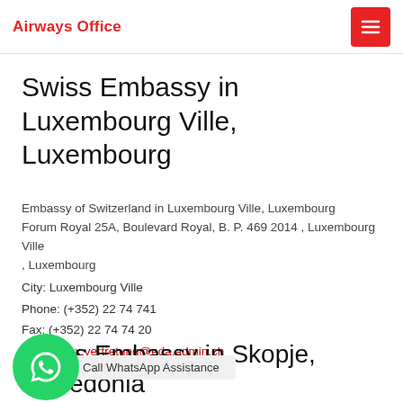Airways Office
Swiss Embassy in Luxembourg Ville, Luxembourg
Embassy of Switzerland in Luxembourg Ville, Luxembourg Forum Royal 25A, Boulevard Royal, B. P. 469 2014 , Luxembourg Ville , Luxembourg
City: Luxembourg Ville
Phone: (+352) 22 74 741
Fax: (+352) 22 74 74 20
Email: : lux.vertretung@eda.admin.ch
Details: Ambassador: Mr Philippe Guex
Call WhatsApp Assistance
Swiss Embassy in Skopje, Macedonia